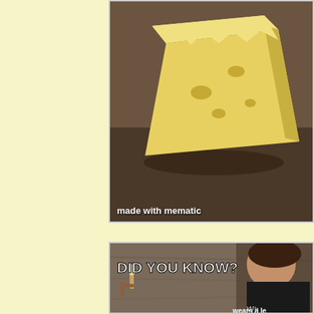[Figure (photo): Top meme card showing a piece of cheese on a wooden surface with 'made with mematic' watermark]
[Figure (photo): Bottom meme card showing a woman in a black outfit with 'DID YOU KNOW?' text overlay and partial text 'wears a le' visible]